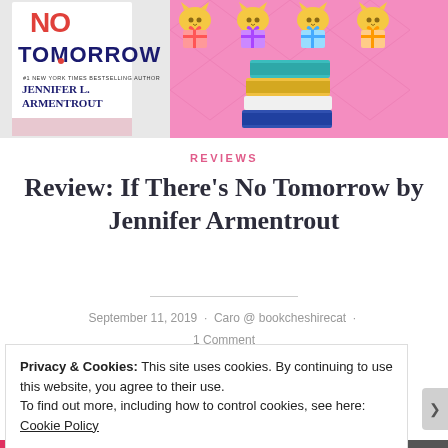[Figure (screenshot): Pink banner with book cover of 'If There's No Tomorrow' by Jennifer L. Armentrout on the left, and decorative cats with gifts and a stack of books on the right on pink diamond-pattern background]
REVIEWS
Review: If There's No Tomorrow by Jennifer Armentrout
September 11, 2019 · Caro @ bookcheshirecat · 1 Comment
Privacy & Cookies: This site uses cookies. By continuing to use this website, you agree to their use.
To find out more, including how to control cookies, see here: Cookie Policy
Close and accept